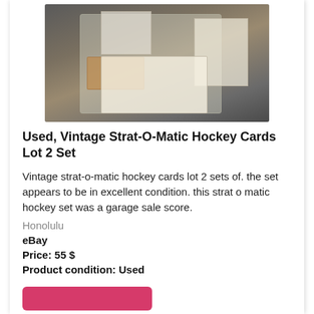[Figure (photo): Photo of vintage Strat-O-Matic hockey cards lot showing plastic bag with game components, card packs, an orange envelope, and a handwritten score sheet on a dark surface]
Used, Vintage Strat-O-Matic Hockey Cards Lot 2 Set
Vintage strat-o-matic hockey cards lot 2 sets of. the set appears to be in excellent condition. this strat o matic hockey set was a garage sale score.
Honolulu
eBay
Price: 55 $
Product condition: Used